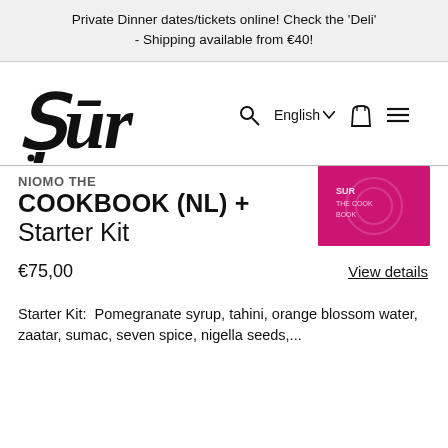Private Dinner dates/tickets online! Check the 'Deli' - Shipping available from €40!
[Figure (logo): Şūr brand logo in large serif italic font with cedilla under S and macron over u]
NIOMO THE COOKBOOK (NL) + Starter Kit
[Figure (photo): Pink/magenta product image thumbnail on right side]
€75,00
View details
Starter Kit:  Pomegranate syrup, tahini, orange blossom water,  zaatar, sumac, seven spice, nigella seeds,...